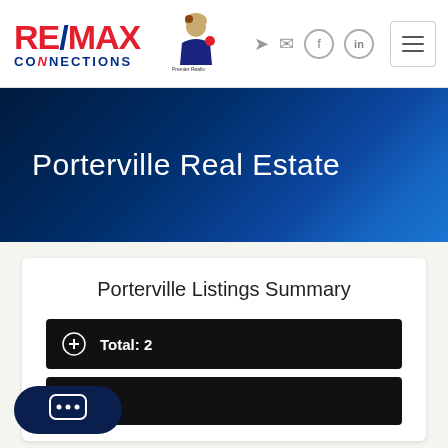[Figure (logo): RE/MAX Connections logo with red and blue text]
[Figure (logo): Agent mascot logo - Butter & Bruno Premier Realty]
Porterville Real Estate
Porterville Listings Summary
Total: 2